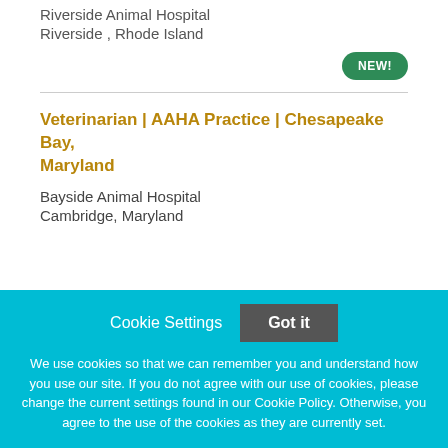Riverside Animal Hospital
Riverside , Rhode Island
NEW!
Veterinarian | AAHA Practice | Chesapeake Bay, Maryland
Bayside Animal Hospital
Cambridge, Maryland
Cookie Settings
Got it
We use cookies so that we can remember you and understand how you use our site. If you do not agree with our use of cookies, please change the current settings found in our Cookie Policy. Otherwise, you agree to the use of the cookies as they are currently set.